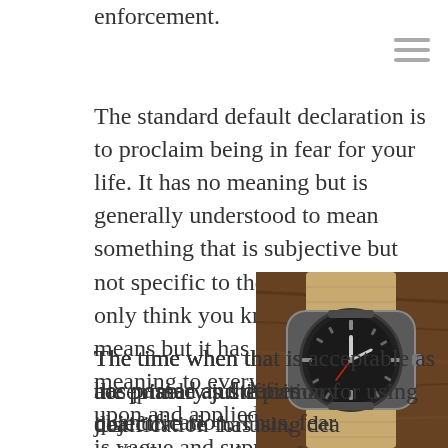enforcement.
The standard default declaration is to proclaim being in fear for your life. It has no meaning but is generally understood to mean something that is subjective but not specific to the situation. You only think you know what it means but it has a different meaning to everyone projected upon and applied to a situation. It is vague and supports a spectrum of fear levels based solely on fearful anxiety.
The time when that is acceptable as the primary justification for using deadly force has passed and defies objective reasoning or quantification. Thus, fear should no longer be sufficient or a factor for using deadly force
[Figure (photo): Close-up photo of a vintage military-style wristwatch with a dark dial on a tan/khaki NATO strap, placed on a wooden surface]